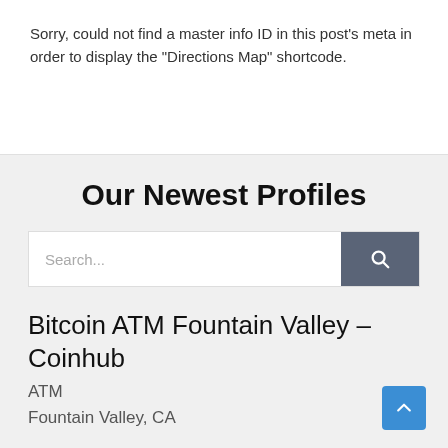Sorry, could not find a master info ID in this post's meta in order to display the "Directions Map" shortcode.
Our Newest Profiles
Search...
Bitcoin ATM Fountain Valley – Coinhub
ATM
Fountain Valley, CA